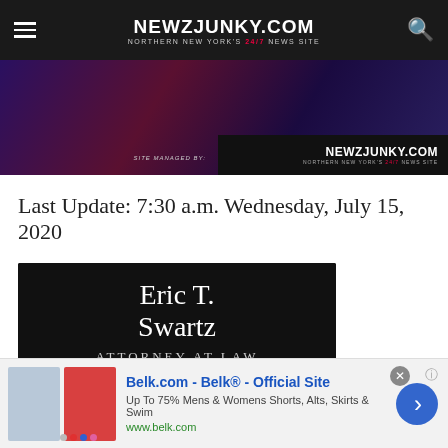NEWZJUNKY.COM — NORTHERN NEW YORK'S 24/7 NEWS SITE
[Figure (screenshot): News website header image showing dark purple/blue scene with NEWZJUNKY.COM logo overlay and 'SITE MANAGED BY' text]
Last Update: 7:30 a.m. Wednesday, July 15, 2020
[Figure (illustration): Advertisement for Eric T. Swartz Attorney at Law — Criminal Defense, Trial, Personal Injury, Real Estate]
[Figure (illustration): Bottom banner advertisement for Belk.com - Belk® - Official Site. Up To 75% Mens & Womens Shorts, Alts, Skirts & Swim. www.belk.com]